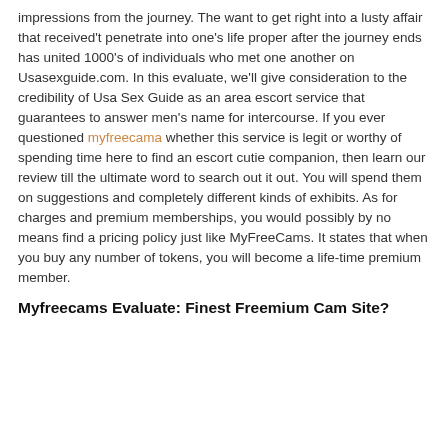impressions from the journey. The want to get right into a lusty affair that received't penetrate into one's life proper after the journey ends has united 1000's of individuals who met one another on Usasexguide.com. In this evaluate, we'll give consideration to the credibility of Usa Sex Guide as an area escort service that guarantees to answer men's name for intercourse. If you ever questioned myfreecama whether this service is legit or worthy of spending time here to find an escort cutie companion, then learn our review till the ultimate word to search out it out. You will spend them on suggestions and completely different kinds of exhibits. As for charges and premium memberships, you would possibly by no means find a pricing policy just like MyFreeCams. It states that when you buy any number of tokens, you will become a life-time premium member.
Myfreecams Evaluate: Finest Freemium Cam Site?